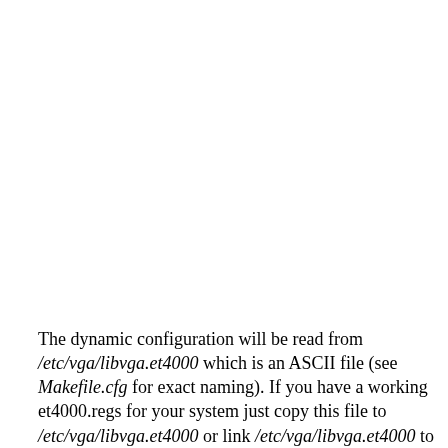The dynamic configuration will be read from /etc/vga/libvga.et4000 which is an ASCII file (see Makefile.cfg for exact naming). If you have a working et4000.regs for your system just copy this file to /etc/vga/libvga.et4000 or link /etc/vga/libvga.et4000 to